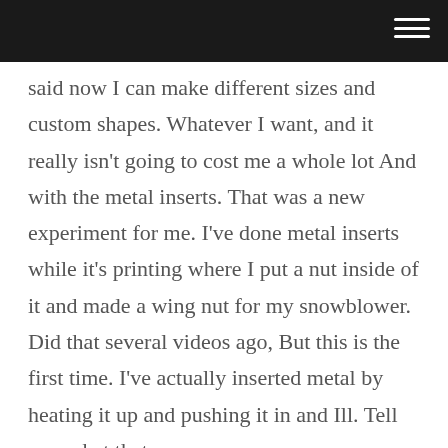said now I can make different sizes and custom shapes. Whatever I want, and it really isn't going to cost me a whole lot And with the metal inserts. That was a new experiment for me. I've done metal inserts while it's printing where I put a nut inside of it and made a wing nut for my snowblower. Did that several videos ago, But this is the first time. I've actually inserted metal by heating it up and pushing it in and Ill. Tell you what that